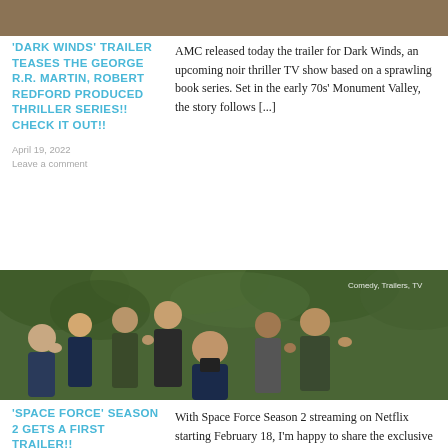[Figure (photo): Partial top strip of a photo, appears to be a dark warm-toned image, possibly a person or landscape]
'DARK WINDS' TRAILER TEASES THE GEORGE R.R. MARTIN, ROBERT REDFORD PRODUCED THRILLER SERIES!! CHECK IT OUT!!
April 19, 2022
Leave a comment
AMC released today the trailer for Dark Winds, an upcoming noir thriller TV show based on a sprawling book series. Set in the early 70s' Monument Valley, the story follows [...]
[Figure (photo): Group photo of cast members from Space Force season 2, appearing to take a selfie outdoors in a green setting. Tag reads: Comedy, Trailers, TV]
'SPACE FORCE' SEASON 2 GETS A FIRST TRAILER!!
With Space Force Season 2 streaming on Netflix starting February 18, I'm happy to share the exclusive first trailer for the